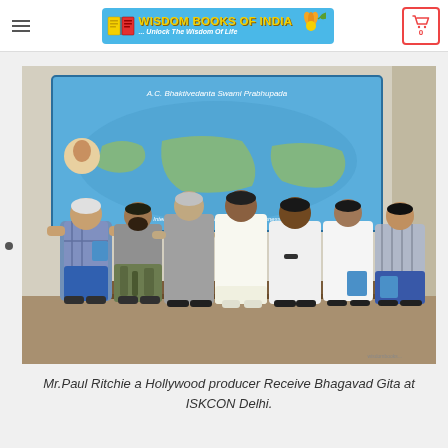Wisdom Books of India ... Unlock The Wisdom Of Life
[Figure (photo): Group photo of seven people standing in front of an A.C. Bhaktivedanta Swami Prabhupada world map display. Mr. Paul Ritchie, a Hollywood producer, is among those receiving Bhagavad Gita at ISKCON Delhi.]
Mr.Paul Ritchie a Hollywood producer Receive Bhagavad Gita at ISKCON Delhi.